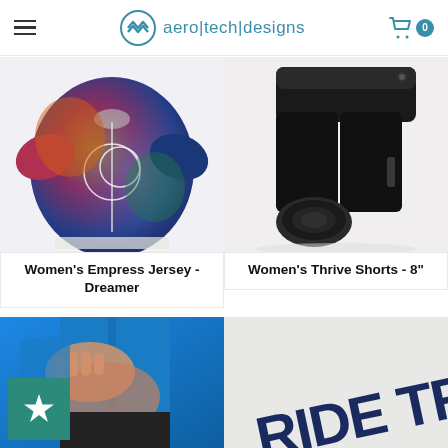aero|tech|designs — navigation header with hamburger menu, logo, and cart
[Figure (photo): Women's Empress Jersey - Dreamer: colorful tie-dye style cycling jersey with moon logo]
Women's Empress Jersey - Dreamer
[Figure (photo): Women's Thrive Shorts - 8": black cycling shorts with chamois pad shown separately]
Women's Thrive Shorts - 8"
[Figure (photo): Blue long sleeve cycling jersey worn by person, partially cropped]
[Figure (photo): RIDE TRAIL text in dark navy bold letters, angled, partially visible]